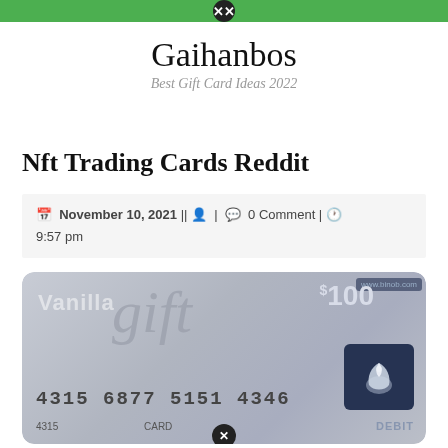Gaihanbos — Best Gift Card Ideas 2022
Nft Trading Cards Reddit
November 10, 2021 | | [user icon] | [comment icon] 0 Comment | [clock icon] 9:57 pm
[Figure (photo): Vanilla Gift Card with value $100 and card number 4315 6877 5151 4346, showing a bird logo and DEBIT label]